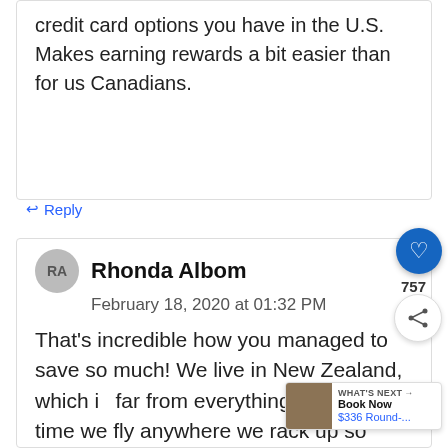credit card options you have in the U.S. Makes earning rewards a bit easier than for us Canadians.
↩ Reply
RA
Rhonda Albom
February 18, 2020 at 01:32 PM
That's incredible how you managed to save so much! We live in New Zealand, which is far from everything, so every time we fly anywhere we rack up so many miles, but we don't really try to benefit much from them, mostly because we didn't know how